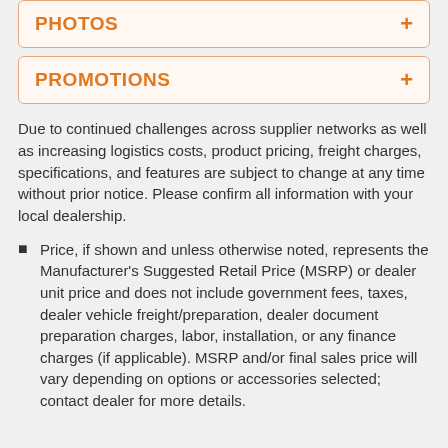PHOTOS +
PROMOTIONS +
Due to continued challenges across supplier networks as well as increasing logistics costs, product pricing, freight charges, specifications, and features are subject to change at any time without prior notice. Please confirm all information with your local dealership.
Price, if shown and unless otherwise noted, represents the Manufacturer's Suggested Retail Price (MSRP) or dealer unit price and does not include government fees, taxes, dealer vehicle freight/preparation, dealer document preparation charges, labor, installation, or any finance charges (if applicable). MSRP and/or final sales price will vary depending on options or accessories selected; contact dealer for more details.